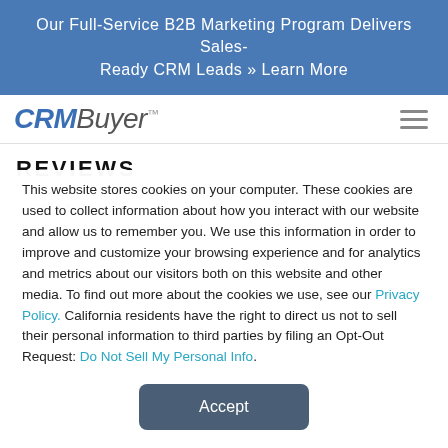Our Full-Service B2B Marketing Program Delivers Sales-Ready CRM Leads » Learn More
[Figure (logo): CRMBuyer logo with hamburger menu icon]
REVIEWS
This website stores cookies on your computer. These cookies are used to collect information about how you interact with our website and allow us to remember you. We use this information in order to improve and customize your browsing experience and for analytics and metrics about our visitors both on this website and other media. To find out more about the cookies we use, see our Privacy Policy. California residents have the right to direct us not to sell their personal information to third parties by filing an Opt-Out Request: Do Not Sell My Personal Info.